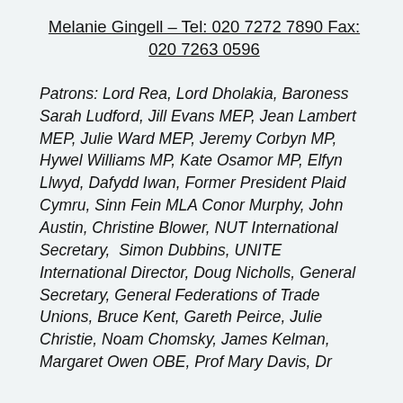Melanie Gingell – Tel: 020 7272 7890 Fax: 020 7263 0596
Patrons: Lord Rea, Lord Dholakia, Baroness Sarah Ludford, Jill Evans MEP, Jean Lambert MEP, Julie Ward MEP, Jeremy Corbyn MP, Hywel Williams MP, Kate Osamor MP, Elfyn Llwyd, Dafydd Iwan, Former President Plaid Cymru, Sinn Fein MLA Conor Murphy, John Austin, Christine Blower, NUT International Secretary,  Simon Dubbins, UNITE International Director, Doug Nicholls, General Secretary, General Federations of Trade Unions, Bruce Kent, Gareth Peirce, Julie Christie, Noam Chomsky, James Kelman, Margaret Owen OBE, Prof Mary Davis, Dr